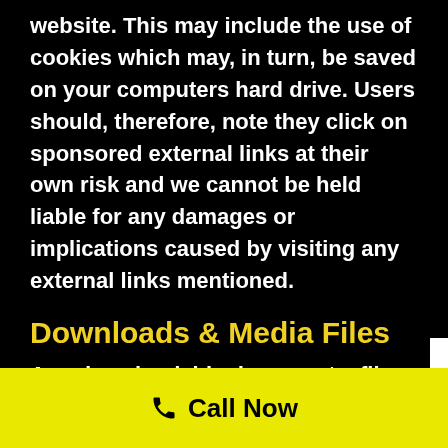website. This may include the use of cookies which may, in turn, be saved on your computers hard drive. Users should, therefore, note they click on sponsored external links at their own risk and we cannot be held liable for any damages or implications caused by visiting any external links mentioned.
Downloads & Media Files
Any downloadable documents, files or media
Call Now